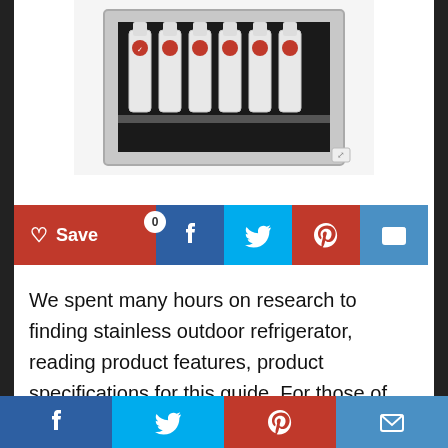[Figure (photo): Partial view of a stainless steel outdoor refrigerator with bottles/cans inside, seen from above/front]
[Figure (infographic): Social sharing buttons row: Save (red with heart), Facebook (dark blue), Twitter (light blue), Pinterest (red), Email (steel blue). Badge showing '0' on Save button.]
We spent many hours on research to finding stainless outdoor refrigerator, reading product features, product specifications for this guide. For those of you who wish to the best stainless outdoor refrigerator, you should not miss this article. stainless outdoor refrigerator coming in a variety of types but also different price range. The following is
[Figure (infographic): Bottom social sharing footer bar with Facebook, Twitter, Pinterest, and Email icons]